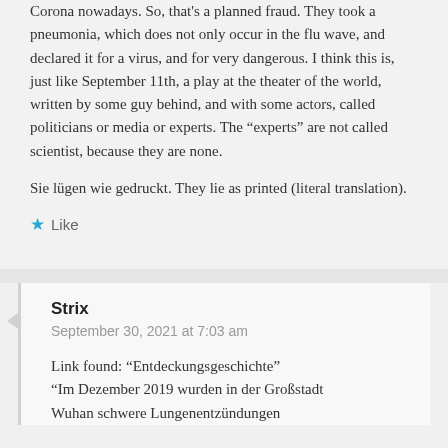Corona nowadays. So, that's a planned fraud. They took a pneumonia, which does not only occur in the flu wave, and declared it for a virus, and for very dangerous. I think this is, just like September 11th, a play at the theater of the world, written by some guy behind, and with some actors, called politicians or media or experts. The “experts” are not called scientist, because they are none.
Sie lügen wie gedruckt. They lie as printed (literal translation).
Like
Strix
September 30, 2021 at 7:03 am
Link found: “Entdeckungsgeschichte”
“Im Dezember 2019 wurden in der Großstadt Wuhan schwere Lungenentzündungen